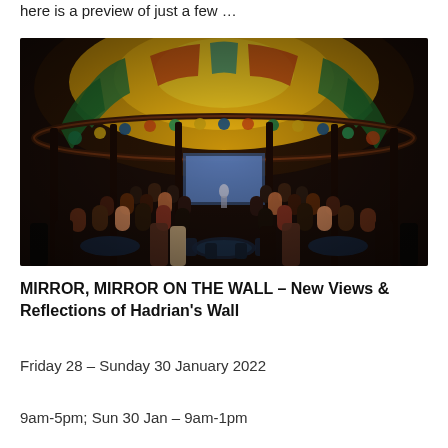here is a preview of just a few …
[Figure (photo): Interior of a circular venue with a large ornate stained-glass dome ceiling in yellow, green, orange and blue. An audience sits at round tables and chairs facing a lit stage/screen at the far end. Dark atmospheric lighting with coloured lights reflected in the dome.]
MIRROR, MIRROR ON THE WALL – New Views & Reflections of Hadrian's Wall
Friday 28 – Sunday 30 January 2022
9am-5pm; Sun 30 Jan – 9am-1pm